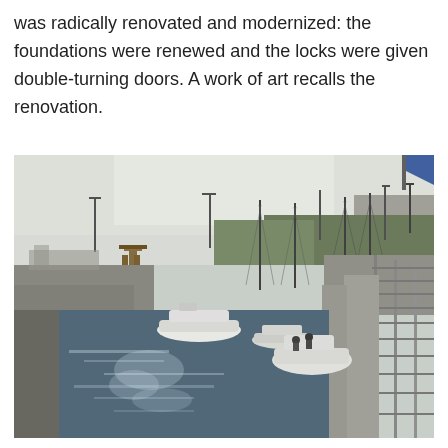was radically renovated and modernized: the foundations were renewed and the locks were given double-turning doors. A work of art recalls the renovation.
[Figure (photo): Photograph of a canal lock with boats inside. The lock chamber contains several small sailboats and motorboats on calm water. Lock walls are visible on both sides with metal railings on the right. In the background are masts, street lights, a green crane structure, and a waterway/harbor area under a pale sky. A blue flag is partially visible in the top right corner.]